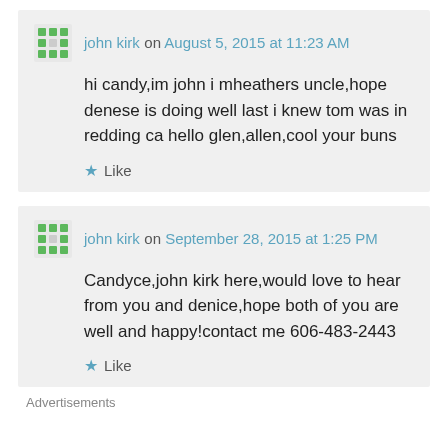john kirk on August 5, 2015 at 11:23 AM
hi candy,im john i mheathers uncle,hope denese is doing well last i knew tom was in redding ca hello glen,allen,cool your buns
Like
john kirk on September 28, 2015 at 1:25 PM
Candyce,john kirk here,would love to hear from you and denice,hope both of you are well and happy!contact me 606-483-2443
Like
Advertisements